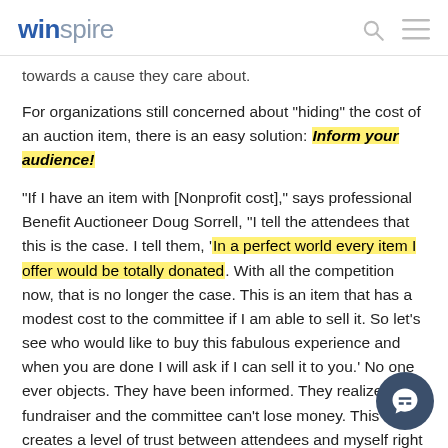winspire
towards a cause they care about.
For organizations still concerned about "hiding" the cost of an auction item, there is an easy solution: Inform your audience!
“If I have an item with [Nonprofit cost],” says professional Benefit Auctioneer Doug Sorrell, “I tell the attendees that this is the case. I tell them, ‘In a perfect world every item I offer would be totally donated. With all the competition now, that is no longer the case. This is an item that has a modest cost to the committee if I am able to sell it. So let’s see who would like to buy this fabulous experience and when you are done I will ask if I can sell it to you.’ No one ever objects. They have been informed. They realize it’s a fundraiser and the committee can’t lose money. This creates a level of trust between attendees and myself right from the